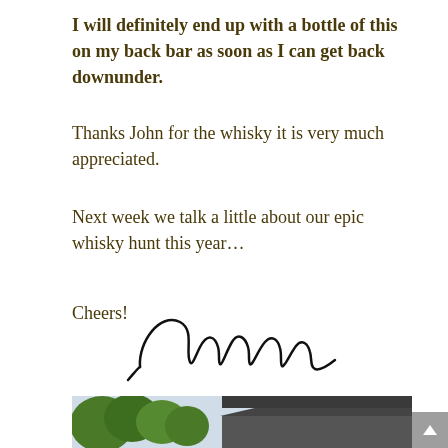I will definitely end up with a bottle of this on my back bar as soon as I can get back downunder.
Thanks John for the whisky it is very much appreciated.
Next week we talk a little about our epic whisky hunt this year…
Cheers!
[Figure (illustration): A handwritten cursive signature in black ink, appearing to read 'Jonathan' or similar name.]
[Figure (photo): A photo showing trees and the rooftop of a building with dark/grey angular architecture visible at the bottom of the page.]